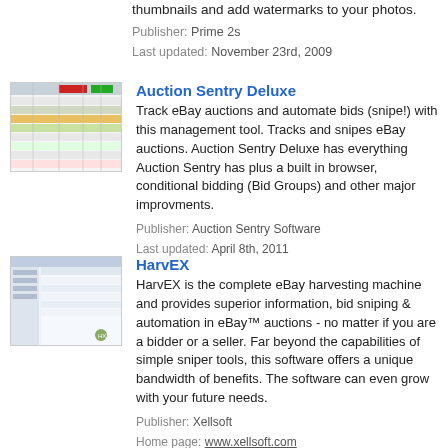thumbnails and add watermarks to your photos.
Publisher: Prime 2s
Last updated: November 23rd, 2009
[Figure (screenshot): Screenshot of Auction Sentry Deluxe software showing a spreadsheet-like interface with colored rows (red, green, yellow) and data columns.]
Auction Sentry Deluxe
Track eBay auctions and automate bids (snipe!) with this management tool. Tracks and snipes eBay auctions. Auction Sentry Deluxe has everything Auction Sentry has plus a built in browser, conditional bidding (Bid Groups) and other major improvments.
Publisher: Auction Sentry Software
Last updated: April 8th, 2011
[Figure (screenshot): Screenshot of HarvEX software showing a Windows application interface with sidebar navigation and data panel.]
HarvEX
HarvEX is the complete eBay harvesting machine and provides superior information, bid sniping & automation in eBay™ auctions - no matter if you are a bidder or a seller. Far beyond the capabilities of simple sniper tools, this software offers a unique bandwidth of benefits. The software can even grow with your future needs.
Publisher: Xellsoft
Home page: www.xellsoft.com
Last updated: August 31st, 2012